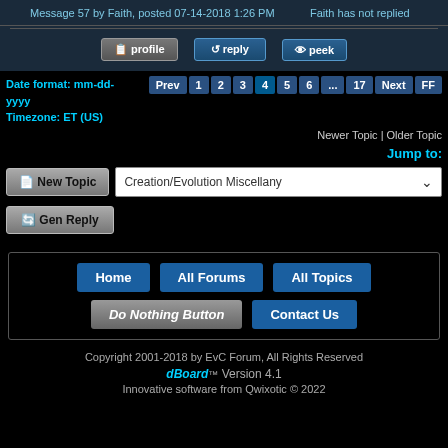Message 57 by Faith, posted 07-14-2018 1:26 PM
Faith has not replied
profile | reply | peek
Date format: mm-dd-yyyy
Timezone: ET (US)
Prev 1 2 3 4 5 6 ... 17 Next FF
Newer Topic | Older Topic
Jump to:
New Topic
Creation/Evolution Miscellany
Gen Reply
Home | All Forums | All Topics | Do Nothing Button | Contact Us
Copyright 2001-2018 by EvC Forum, All Rights Reserved
dBoard™ Version 4.1
Innovative software from Qwixotic © 2022